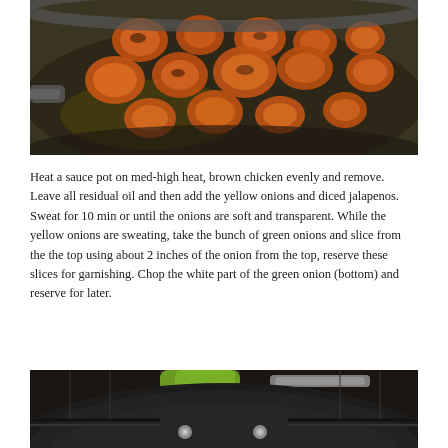[Figure (photo): A dark non-stick skillet or sauce pot on a stovetop containing browned chicken pieces coated in a reddish-orange spice rub, cooking in oil.]
Heat a sauce pot on med-high heat, brown chicken evenly and remove. Leave all residual oil and then add the yellow onions and diced jalapenos. Sweat for 10 min or until the onions are soft and transparent. While the yellow onions are sweating, take the bunch of green onions and slice from the the top using about 2 inches of the onion from the top, reserve these slices for garnishing. Chop the white part of the green onion (bottom) and reserve for later.
[Figure (photo): A large dark non-stick skillet or sauce pot viewed from above, empty, on a stovetop, with a lime green pot or container visible in the background.]